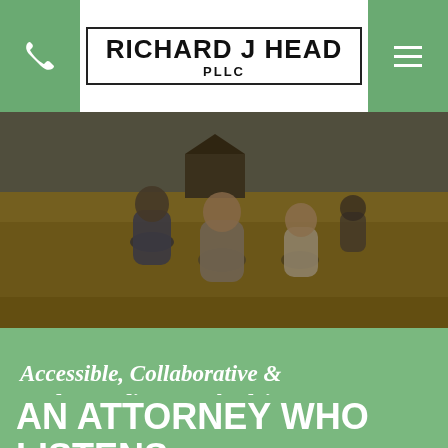RICHARD J HEAD PLLC
[Figure (photo): A family of four walking through a golden wheat field toward a barn in the distance, viewed from behind.]
Accessible, Collaborative & Understanding Legal Advice
AN ATTORNEY WHO LISTENS TO YOU